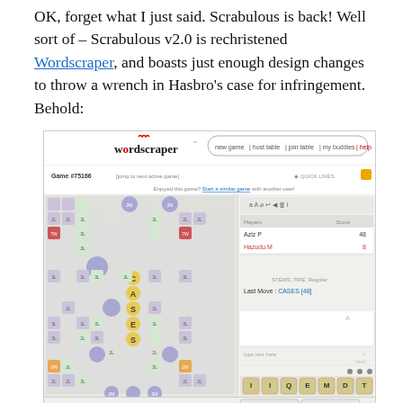OK, forget what I just said. Scrabulous is back! Well sort of – Scrabulous v2.0 is rechristened Wordscraper, and boasts just enough design changes to throw a wrench in Hasbro's case for infringement. Behold:
[Figure (screenshot): Screenshot of the Wordscraper online game interface showing the game board with word CASES played, the wordscraper logo, navigation buttons (new game, host table, join table, my buddies, help), game number #75166, player scores (Aziz P: 48, Hazudu M: 8), game tiles and controls (PLAY WORD, CHALLENGE, SWAP TILES, PASS TURN).]
Scrabulous 2.0: Wordscraper. Looks familiar... but not too familiar.